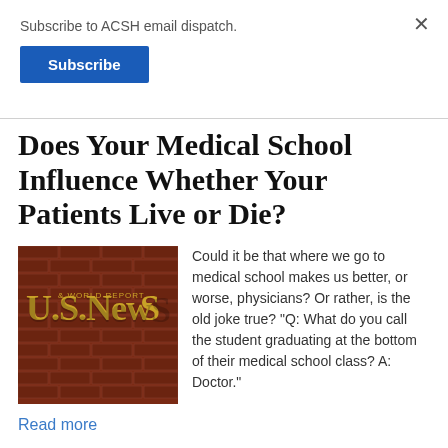Subscribe to ACSH email dispatch.
Subscribe
Does Your Medical School Influence Whether Your Patients Live or Die?
[Figure (photo): Photo of a brick wall with a gold U.S. News & World Report sign mounted on it]
Could it be that where we go to medical school makes us better, or worse, physicians? Or rather, is the old joke true? "Q: What do you call the student graduating at the bottom of their medical school class? A: Doctor."
Read more